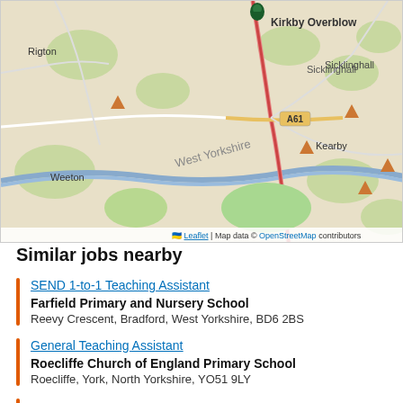[Figure (map): OpenStreetMap showing area around Kirkby Overblow, West Yorkshire. Shows locations including Rigton, Weeton, Kearby, Sicklinghall, A61 road, and West Yorkshire label. A dark green location pin marks Kirkby Overblow. Several orange triangle markers visible.]
Leaflet | Map data © OpenStreetMap contributors
Similar jobs nearby
SEND 1-to-1 Teaching Assistant
Farfield Primary and Nursery School
Reevy Crescent, Bradford, West Yorkshire, BD6 2BS
General Teaching Assistant
Roecliffe Church of England Primary School
Roecliffe, York, North Yorkshire, YO51 9LY